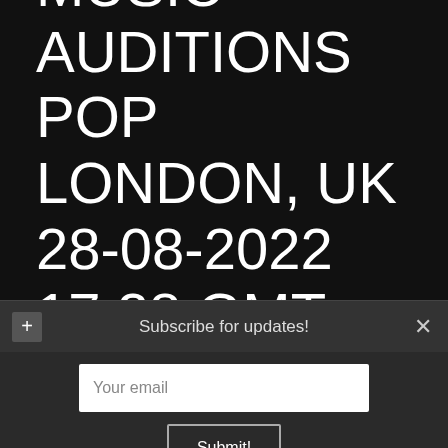MUSIC AUDITIONS POP LONDON, UK 28-08-2022 17:28 GMT
Subscribe for updates!
Your email
Submit!